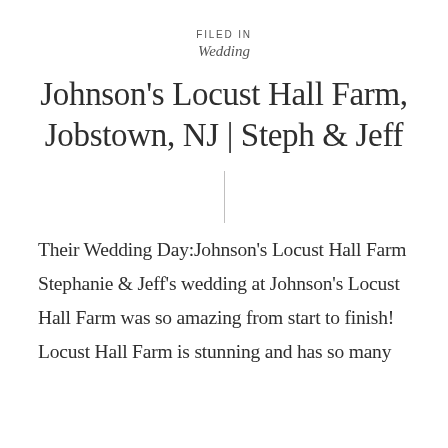FILED IN
Wedding
Johnson's Locust Hall Farm, Jobstown, NJ | Steph & Jeff
Their Wedding Day:Johnson's Locust Hall Farm Stephanie & Jeff's wedding at Johnson's Locust Hall Farm was so amazing from start to finish! Locust Hall Farm is stunning and has so many